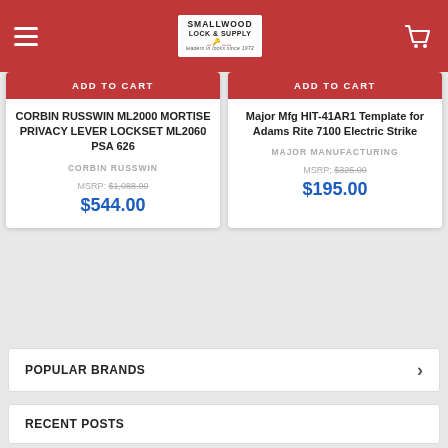Smallwood Lock & Supply
ADD TO CART
CORBIN RUSSWIN ML2000 MORTISE PRIVACY LEVER LOCKSET ML2060 PSA 626
CORBIN RUSSWIN
MSRP: $1,088.00
$544.00
ADD TO CART
Major Mfg HIT-41AR1 Template for Adams Rite 7100 Electric Strike
MAJOR MANUFACTURING
MSRP: $325.00
$195.00
POPULAR BRANDS
RECENT POSTS